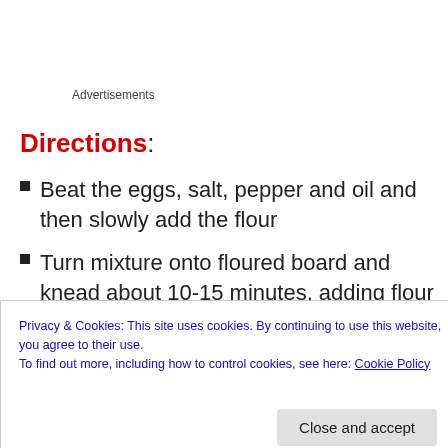Advertisements
Directions:
Beat the eggs, salt, pepper and oil and then slowly add the flour
Turn mixture onto floured board and knead about 10-15 minutes, adding flour as needed. Dough should no longer be sticky but soft and elastic
Privacy & Cookies: This site uses cookies. By continuing to use this website, you agree to their use.
To find out more, including how to control cookies, see here: Cookie Policy
Close and accept